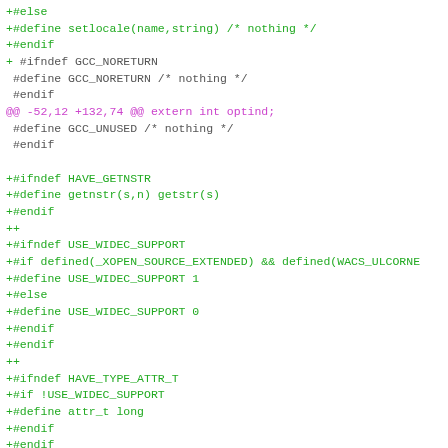[Figure (screenshot): Code diff snippet showing C preprocessor directives. Green lines are additions (+), magenta line is a diff hunk header (@@), and uncolored lines are context lines. The code deals with locale, GCC attributes, getnstr, USE_WIDEC_SUPPORT, HAVE_TYPE_ATTR_T, and NCURSES_CH_T definitions.]